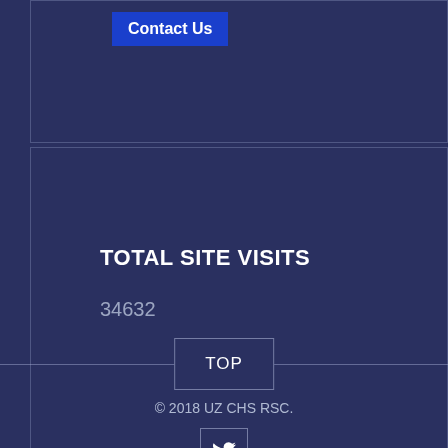Contact Us
TOTAL SITE VISITS
34632
TOP
© 2018 UZ CHS RSC.
[Figure (logo): Twitter bird icon inside a bordered square box]